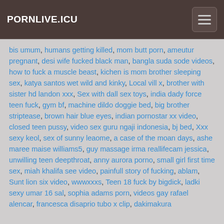PORNLIVE.ICU
bis umum, humans getting killed, mom butt porn, ameutur pregnant, desi wife fucked black man, bangla suda sode videos, how to fuck a muscle beast, kichen is mom brother sleeping sex, katya santos wet wild and kinky, Local vill x, brother with sister hd landon xxx, Sex with dall sex toys, india dady force teen fuck, gym bf, machine dildo doggie bed, big brother striptease, brown hair blue eyes, indian pornostar xx video, closed teen pussy, video sex guru ngaji indonesia, bj bed, Xxx sexy keol, sex of sunny leaome, a case of the moan days, ashe maree maise williams5, guy massage irma reallifecam jessica, unwilling teen deepthroat, anny aurora porno, small girl first time sex, miah khalifa see video, painfull story of fucking, ablam, Sunt lion six video, wwwxxxs, Teen 18 fuck by bigdick, ladki sexy umar 16 sal, sophia adams porn, videos gay rafael alencar, francesca disaprio tubo x clip, dakimakura